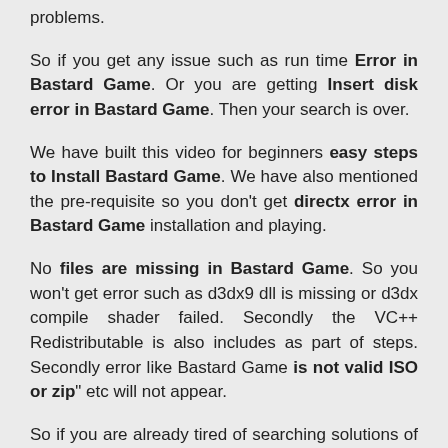problems.
So if you get any issue such as run time Error in Bastard Game. Or you are getting Insert disk error in Bastard Game. Then your search is over.
We have built this video for beginners easy steps to Install Bastard Game. We have also mentioned the pre-requisite so you don't get directx error in Bastard Game installation and playing.
No files are missing in Bastard Game. So you won't get error such as d3dx9 dll is missing or d3dx compile shader failed. Secondly the VC++ Redistributable is also includes as part of steps. Secondly error like Bastard Game is not valid ISO or zip" etc will not appear.
So if you are already tired of searching solutions of Bastard Game Errors then you are now at right place. We'll help you to troubleshoot every problem